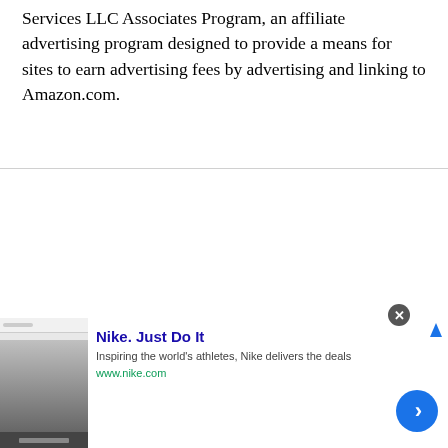Services LLC Associates Program, an affiliate advertising program designed to provide a means for sites to earn advertising fees by advertising and linking to Amazon.com.
[Figure (screenshot): Advertisement banner for Nike featuring a thumbnail image of a webpage, Nike logo area, bold title 'Nike. Just Do It', description text 'Inspiring the world's athletes, Nike delivers the deals', URL 'www.nike.com', and a blue circular arrow button. Close button (X) in top-right area. Small arrow icon at top right.]